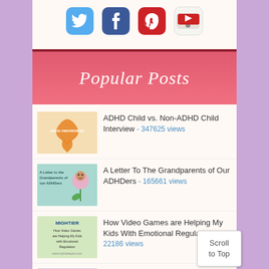[Figure (other): Social media icons: Twitter, Facebook, Pinterest, YouTube]
Popular Posts
ADHD Child vs. Non-ADHD Child Interview - 347625 views
A Letter To The Grandparents of Our ADHDers - 165661 views
How Video Games are Helping My Kids With Emotional Regulation - 22186 views
Common Misconceptions About ADHD - 18872 views
Beating ADHD With Bina...